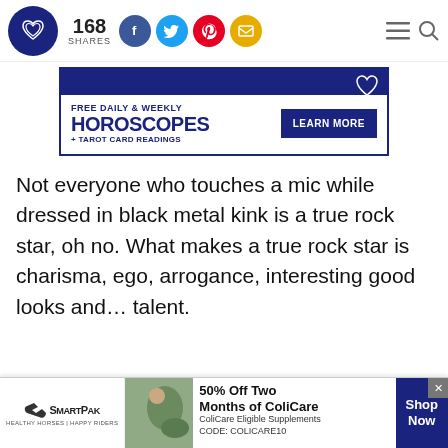168 SHARES
[Figure (infographic): Horoscope ad banner: FREE DAILY & WEEKLY HOROSCOPES + TAROT CARD READINGS with LEARN MORE button]
Not everyone who touches a mic while dressed in black metal kink is a true rock star, oh no. What makes a true rock star is charisma, ego, arrogance, interesting good looks and... talent.
[Figure (infographic): SmartPak advertisement: 50% Off Two Months of ColiCare. ColiCare Eligible Supplements CODE: COLICARE10. Shop Now button.]